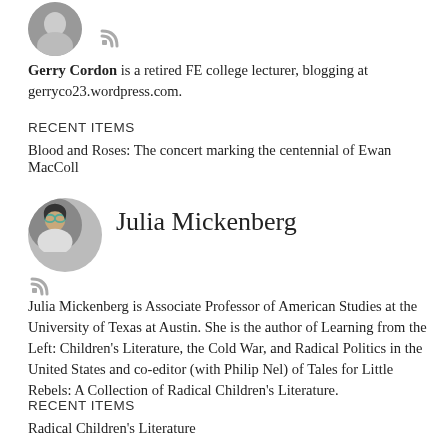[Figure (photo): Circular avatar photo of Gerry Cordon, top of page, partially cropped]
Gerry Cordon is a retired FE college lecturer, blogging at gerryco23.wordpress.com.
RECENT ITEMS
Blood and Roses: The concert marking the centennial of Ewan MacColl
[Figure (photo): Circular avatar photo of Julia Mickenberg, a woman with glasses and dark hair]
Julia Mickenberg
Julia Mickenberg is Associate Professor of American Studies at the University of Texas at Austin. She is the author of Learning from the Left: Children's Literature, the Cold War, and Radical Politics in the United States and co-editor (with Philip Nel) of Tales for Little Rebels: A Collection of Radical Children's Literature.
RECENT ITEMS
Radical Children's Literature